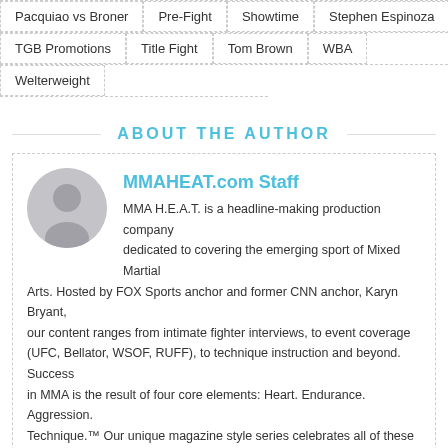Pacquiao vs Broner
Pre-Fight
Showtime
Stephen Espinoza
TGB Promotions
Title Fight
Tom Brown
WBA
Welterweight
ABOUT THE AUTHOR
MMAHEAT.com Staff
MMA H.E.A.T. is a headline-making production company dedicated to covering the emerging sport of Mixed Martial Arts. Hosted by FOX Sports anchor and former CNN anchor, Karyn Bryant, our content ranges from intimate fighter interviews, to event coverage (UFC, Bellator, WSOF, RUFF), to technique instruction and beyond. Success in MMA is the result of four core elements: Heart. Endurance. Aggression. Technique.™ Our unique magazine style series celebrates all of these pieces of the MMA fighting puzzle in a way that fans love. MMA H.E.A.T. is headquartered in Los Angeles, California and operates worldwide through